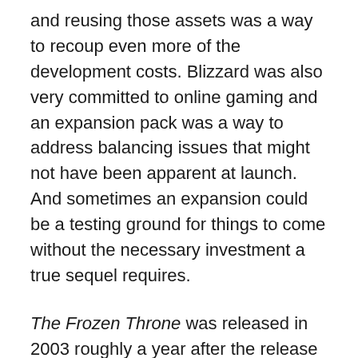and reusing those assets was a way to recoup even more of the development costs. Blizzard was also very committed to online gaming and an expansion pack was a way to address balancing issues that might not have been apparent at launch. And sometimes an expansion could be a testing ground for things to come without the necessary investment a true sequel requires.
The Frozen Throne was released in 2003 roughly a year after the release of Warcraft III. Warcraft III was a success for Blizzard and an expansion to the game was essentially a foregone conclusion. There were a lot of loose ends to tie-up following the completion of the game's campaign mode, and after a year of steady online play, fans were more than willing to embrace some new units to mess around with. Blizzard also had the soon-to-be mega success World of Warcraft primed and ready, and The